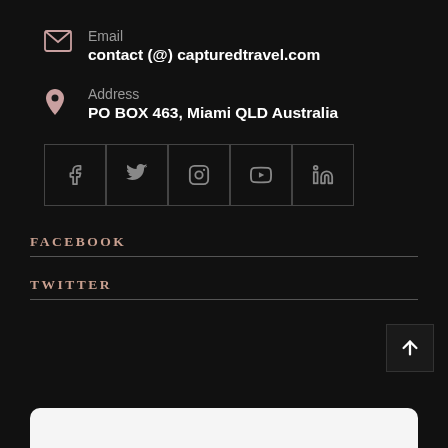Email
contact (@) capturedtravel.com
Address
PO BOX 463, Miami QLD Australia
[Figure (other): Row of 5 social media icon buttons (Facebook, Twitter, Instagram, YouTube, LinkedIn) with dark borders on dark background]
FACEBOOK
TWITTER
[Figure (other): Scroll to top button with upward arrow, bottom right corner]
[Figure (other): Twitter card widget partial view at bottom of page]